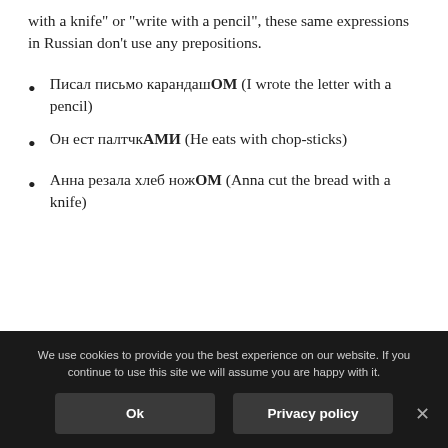with a knife" or "write with a pencil", these same expressions in Russian don't use any prepositions.
Писал письмо карандашОМ (I wrote the letter with a pencil)
Он ест палтчкАМИ (He eats with chop-sticks)
Анна резала хлеб ножОМ (Anna cut the bread with a knife)
We use cookies to provide you the best experience on our website. If you continue to use this site we will assume you are happy with it. Ok  Privacy policy